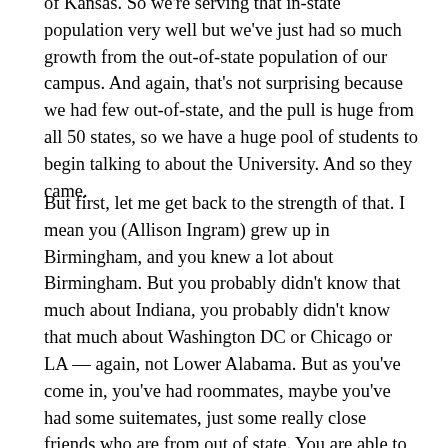of Kansas. So we're serving that in-state population very well but we've just had so much growth from the out-of-state population of our campus. And again, that's not surprising because we had few out-of-state, and the pull is huge from all 50 states, so we have a huge pool of students to begin talking to about the University. And so they came.
But first, let me get back to the strength of that. I mean you (Allison Ingram) grew up in Birmingham, and you knew a lot about Birmingham. But you probably didn't know that much about Indiana, you probably didn't know that much about Washington DC or Chicago or LA — again, not Lower Alabama. But as you've come in, you've had roommates, maybe you've had some suitemates, just some really close friends who are from out of state. You are able to go home with them during fall break or spring break or Thanksgiving break and go to their families. That type of interaction — again, one of the well-read about that two outcomes from...